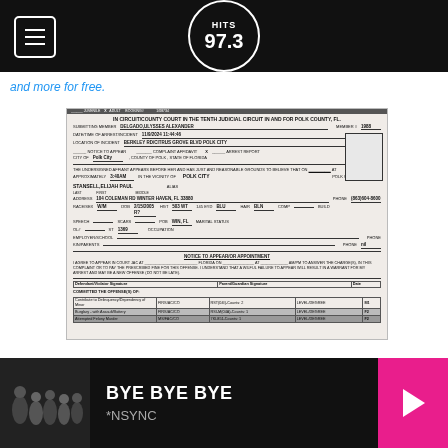HITS 97.3 - radio station header with menu button and logo
and more for free.
[Figure (other): Florida arrest/booking complaint affidavit form for STANSELL, ELIJAH PAUL, from Polk County Circuit Court, Tenth Judicial Circuit. Charges include: Contribute to Delinquency/Dependency of Minor (FIRST/AC/CO, RST(04I)-Counts: 2, LEVEL/DEGREE: M1), Burglary with Assault/Battery (FIRS/AC/CO, RSI-M(04A)-Counts: 1, LEVEL/DEGREE: F2), Attempted Felony Murder (MS/FAC/CO, 7KL851-Counts: 1, LEVEL/DEGREE: F2). Submitting member: DELGADO, ULYSSES ALEXANDER. Date/Time: 11/9/2024 11:44:46. Location: BERKLEY RD/CITRUS GROVE BLVD POLK CITY.]
BYE BYE BYE
*NSYNC